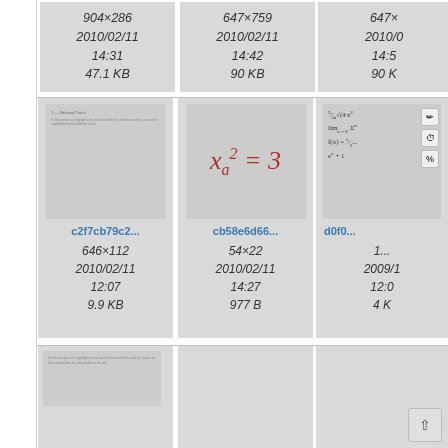[Figure (screenshot): File browser thumbnail grid showing document/image files with metadata. Top row shows three partially visible cards with dimensions and dates. Middle row shows three cards: a document preview (c2f7cb79c2..., 646×112, 2010/02/11 12:07, 9.9 KB), a math formula card (cb58e6d66..., 54×22, 2010/02/11 14:27, 977 B), and a partially visible card with math expressions (d0f0...). Bottom row shows three more thumbnail cards.]
904×286
2010/02/11
14:31
47.1 KB
647×759
2010/02/11
14:42
90 KB
647×
2010/0
14:5
90 K
c2f7cb79c2...
646×112
2010/02/11
12:07
9.9 KB
cb58e6d66...
54×22
2010/02/11
14:27
977 B
d0f0...
1...
2009/1
12:0
4 K